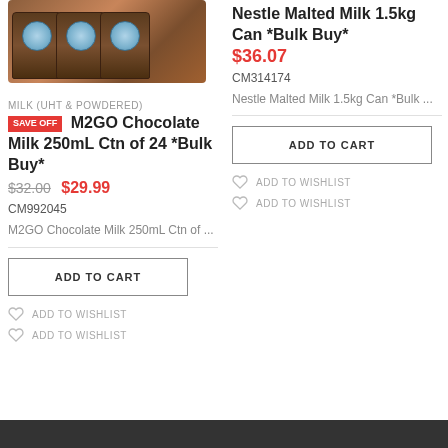[Figure (photo): M2GO Chocolate Milk 250mL cartons, pack of 24, shown cropped at top]
MILK (UHT & POWDERED)
SAVE OFF M2GO Chocolate Milk 250mL Ctn of 24 *Bulk Buy*
$32.00  $29.99
CM992045
M2GO Chocolate Milk 250mL Ctn of ...
ADD TO CART
ADD TO WISHLIST
ADD TO WISHLIST
Nestle Malted Milk 1.5kg Can *Bulk Buy*
$36.07
CM314174
Nestle Malted Milk 1.5kg Can *Bulk ...
ADD TO CART
ADD TO WISHLIST
ADD TO WISHLIST